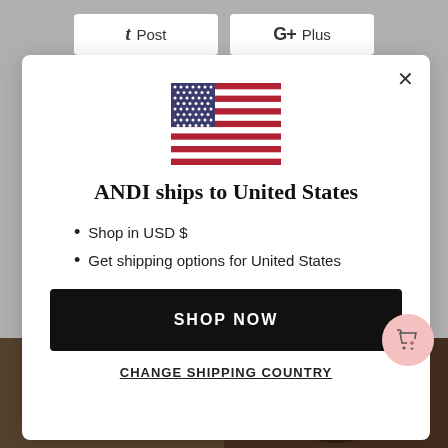t Post   G+ Plus
[Figure (screenshot): Modal dialog showing US flag, shipping info, and shop now button]
ANDI ships to United States
Shop in USD $
Get shipping options for United States
SHOP NOW
CHANGE SHIPPING COUNTRY
[Figure (photo): Bottom photos of hair accessories and hairstyles]